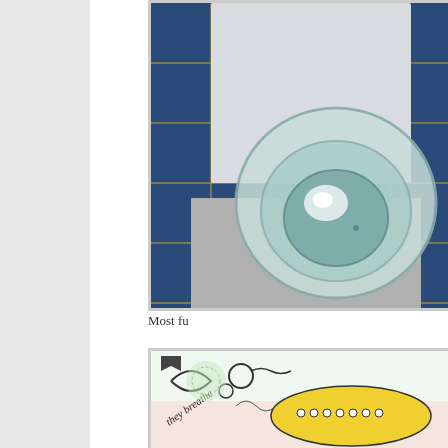[Figure (photo): Top-down view of a glass of water (empty or nearly empty) on a surface with blue tiles in the background. The glass shows reflections and a slightly tinted transparent bottom.]
Most fu
[Figure (illustration): A colorful hand-drawn cartoon/comic style illustration with text 'they breathe' written in cursive, featuring yellow shapes, dots, and abstract characters on a light background.]